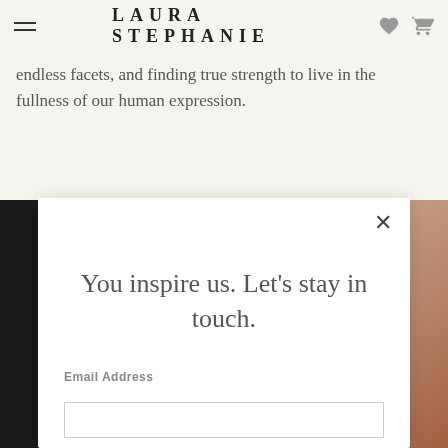LAURA STEPHANIE
endless facets, and finding true strength to live in the fullness of our human expression.
[Figure (screenshot): Modal popup overlay on a website for Laura Stephanie. The modal contains a close button (×), a heading 'You inspire us. Let's stay in touch.' and an Email Address input field. Behind the modal is a dark background with a partial view of a person's hand/skin on the right side.]